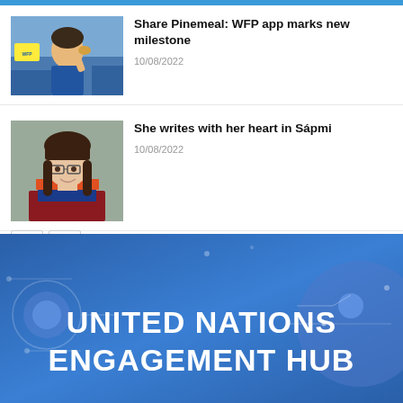Share Pinemeal: WFP app marks new milestone
10/08/2022
[Figure (photo): Child eating food in a classroom setting with WFP branding]
She writes with her heart in Sápmi
10/08/2022
[Figure (photo): Portrait of a woman with dark hair wearing traditional Sami clothing]
[Figure (illustration): United Nations Engagement Hub banner with blue background and circuit-style decorative elements]